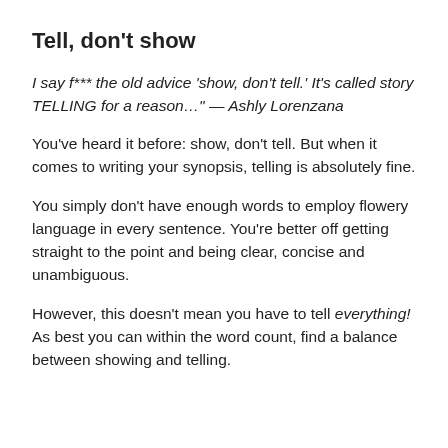Tell, don't show
I say f*** the old advice 'show, don't tell.' It's called story TELLING for a reason…" — Ashly Lorenzana
You've heard it before: show, don't tell. But when it comes to writing your synopsis, telling is absolutely fine.
You simply don't have enough words to employ flowery language in every sentence. You're better off getting straight to the point and being clear, concise and unambiguous.
However, this doesn't mean you have to tell everything! As best you can within the word count, find a balance between showing and telling.